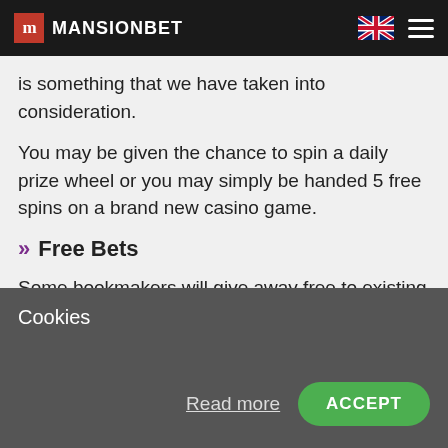MANSIONBET
is something that we have taken into consideration.
You may be given the chance to spin a daily prize wheel or you may simply be handed 5 free spins on a brand new casino game.
Free Bets
Some bookmakers will give away free to existing customers and these will be added to your account once your qualifying bet has settled. Some bookmakers such as 888sport regularly reward their
Cookies
Read more
ACCEPT